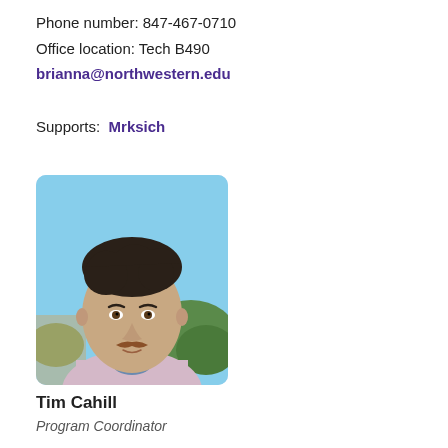Phone number: 847-467-0710
Office location: Tech B490
brianna@northwestern.edu
Supports:  Mrksich
[Figure (photo): Headshot photo of Tim Cahill, a man with dark hair and a mustache wearing a light pink blazer and blue dotted shirt, photographed outdoors against a blue sky with some green foliage in the background.]
Tim Cahill
Program Coordinator